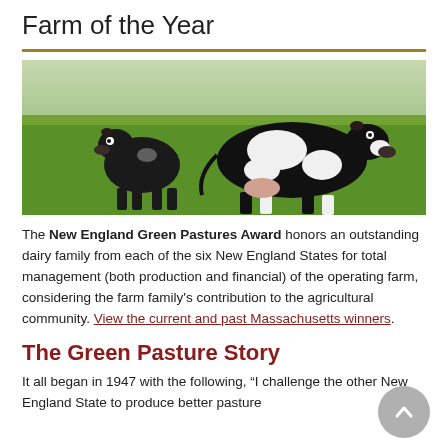Farm of the Year
[Figure (photo): Two black-and-white dairy cows grazing on green grass in a pasture with solar panels or farm structures visible in the background.]
The New England Green Pastures Award honors an outstanding dairy family from each of the six New England States for total management (both production and financial) of the operating farm, considering the farm family's contribution to the agricultural community. View the current and past Massachusetts winners.
The Green Pasture Story
It all began in 1947 with the following, “I challenge the other New England State to produce better pasture